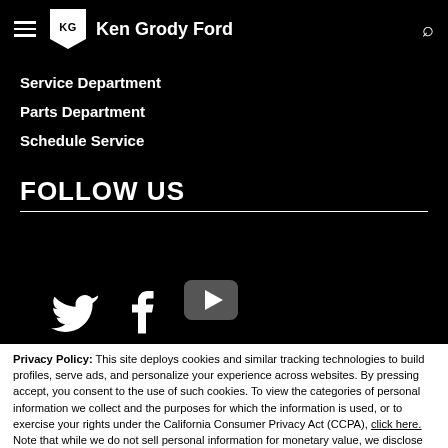Ken Grody Ford
Service Department
Parts Department
Schedule Service
FOLLOW US
[Figure (illustration): Social media icons: Twitter bird, Facebook f, YouTube play button]
Privacy Policy: This site deploys cookies and similar tracking technologies to build profiles, serve ads, and personalize your experience across websites. By pressing accept, you consent to the use of such cookies. To view the categories of personal information we collect and the purposes for which the information is used, or to exercise your rights under the California Consumer Privacy Act (CCPA), click here. Note that while we do not sell personal information for monetary value, we disclose personal information to third parties, such as vehicle manufacturers, in such a way that may be considered a "sale" of personal information under the CCPA. To direct us to stop the sale of your personal information, or to re-access these settings or disclosures at anytime, click the following icon or link:
Do Not Sell My Personal Information
Language: English
Powered by ComplyAuto
Accept and Continue →
California Privacy Disclosures